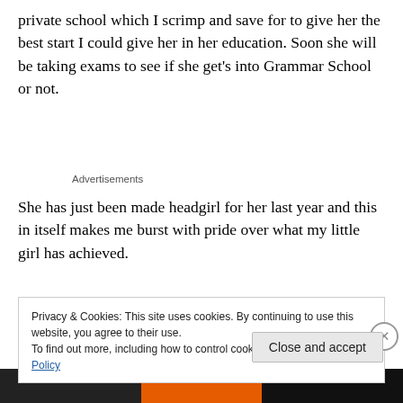private school which I scrimp and save for to give her the best start I could give her in her education. Soon she will be taking exams to see if she get's into Grammar School or not.
Advertisements
She has just been made headgirl for her last year and this in itself makes me burst with pride over what my little girl has achieved.
Privacy & Cookies: This site uses cookies. By continuing to use this website, you agree to their use.
To find out more, including how to control cookies, see here: Cookie Policy
Close and accept